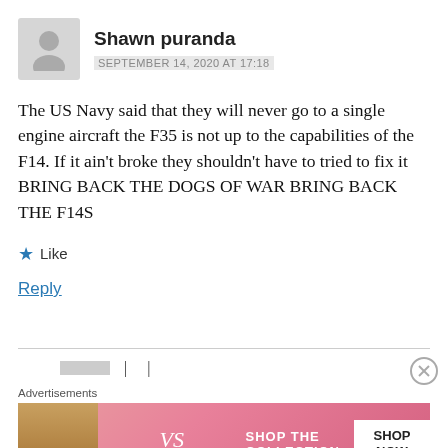Shawn puranda
SEPTEMBER 14, 2020 AT 17:18
The US Navy said that they will never go to a single engine aircraft the F35 is not up to the capabilities of the F14. If it ain't broke they shouldn't have to tried to fix it BRING BACK THE DOGS OF WAR BRING BACK THE F14S
Like
Reply
Advertisements